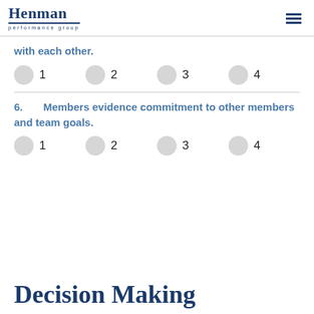Henman performance group
with each other.
1   2   3   4
6.    Members evidence commitment to other members and team goals.
1   2   3   4
Decision Making